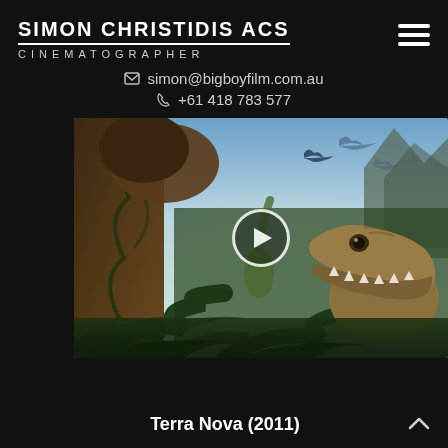SIMON CHRISTIDIS ACS
CINEMATOGRAPHER
simon@bigboyfilm.com.au
+61 418 783 577
[Figure (screenshot): A prehistoric jungle scene with a T-Rex dinosaur in the foreground, pterodactyls flying in the background, and a rocky arch with vines framing the scene. A circular play button overlay is visible in the upper center of the image.]
Terra Nova (2011)